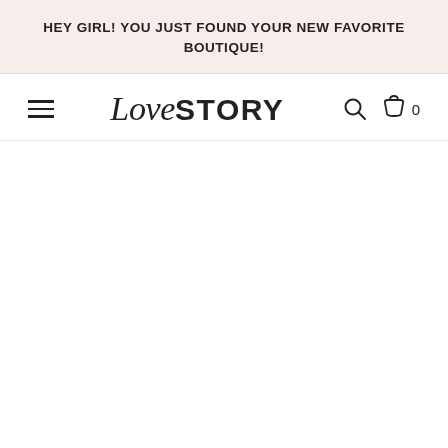HEY GIRL! YOU JUST FOUND YOUR NEW FAVORITE BOUTIQUE!
[Figure (logo): Love STORY boutique navigation bar with hamburger menu, script+sans-serif logo, search icon, and cart icon showing 0 items]